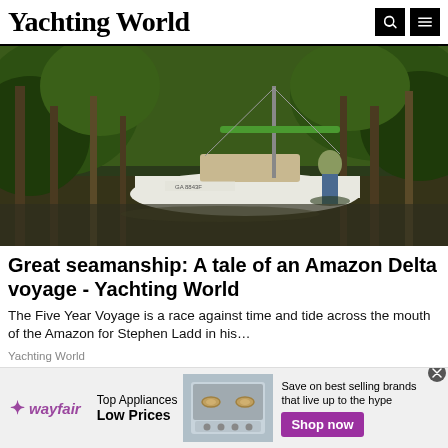Yachting World
[Figure (photo): A woman standing in shallow water in a dense jungle, next to a white sailboat with green painted accents, navigating through flooded Amazon Delta vegetation.]
Great seamanship: A tale of an Amazon Delta voyage - Yachting World
The Five Year Voyage is a race against time and tide across the mouth of the Amazon for Stephen Ladd in his...
Yachting World
[Figure (infographic): Wayfair advertisement banner: Top Appliances Low Prices, image of a stove/range appliance, text: Save on best selling brands that live up to the hype, Shop now button.]